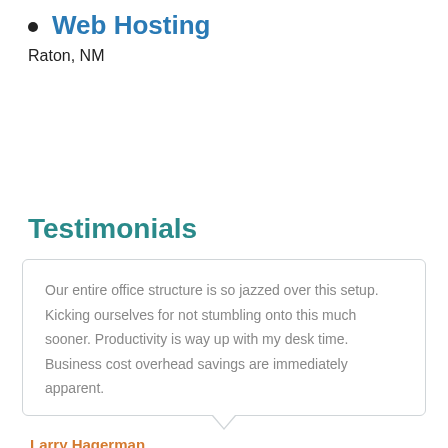Web Hosting
Raton, NM
Testimonials
Our entire office structure is so jazzed over this setup. Kicking ourselves for not stumbling onto this much sooner. Productivity is way up with my desk time. Business cost overhead savings are immediately apparent.
Larry Hagerman